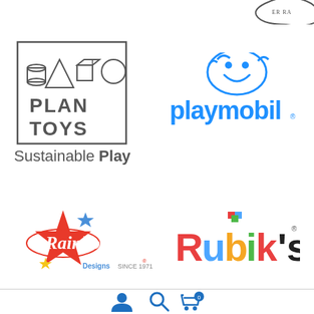[Figure (logo): Partial logo at top right corner, circular stamp style, partially visible]
[Figure (logo): PlanToys logo - geometric shapes (cylinder, triangle, cube, sphere) above bold text PLAN TOYS in a square border]
[Figure (logo): Playmobil logo in blue rounded letters with smiling face character above]
Sustainable Play
[Figure (logo): Rainbow Designs Since 1971 logo - red star with script Rainbow text and blue Designs Since 1971 text]
[Figure (logo): Rubik's logo in multicolor bold letters with small cube icon on top]
[Figure (other): Bottom navigation bar with user icon, search icon, and shopping cart icon with 0 badge]